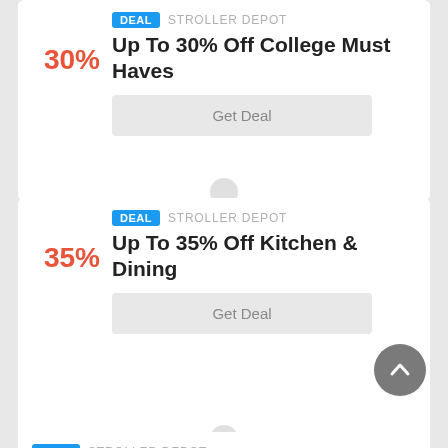30%
Up To 30% Off College Must Haves
DEAL  STROLLER DEPOT
Get Deal
35%
Up To 35% Off Kitchen & Dining
DEAL  STROLLER DEPOT
Get Deal
DEAL  STROLLER DEPOT
Up To $100 Off Apple Products